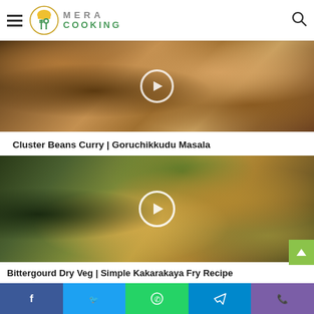MERA COOKING
[Figure (photo): Close-up photo of Cluster Beans Curry / Goruchikkudu Masala in a pan, with a play button overlay]
Cluster Beans Curry | Goruchikkudu Masala
[Figure (photo): Close-up photo of Bittergourd Dry Veg / Simple Kakarakaya Fry Recipe with a play button overlay]
Bittergourd Dry Veg | Simple Kakarakaya Fry Recipe
Facebook Twitter WhatsApp Telegram Viber social share bar